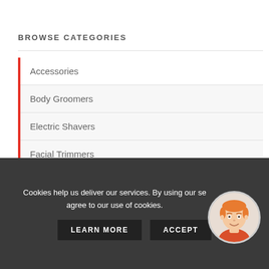BROWSE CATEGORIES
Accessories
Body Groomers
Electric Shavers
Facial Trimmers
Hair Removal
Men's Razors
Moustache & Beard Scissors
Cookies help us deliver our services. By using our services, you agree to our use of cookies.
LEARN MORE
ACCEPT